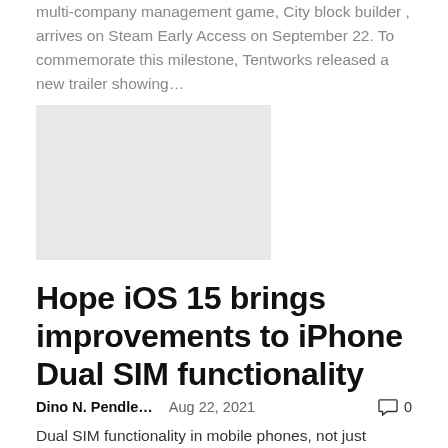multi-company management game, City block builder , arrives on Steam Early Access on September 22. To commemorate this milestone, Tentworks released a new trailer showing…
[Figure (photo): Gray placeholder thumbnail image for an article]
Hope iOS 15 brings improvements to iPhone Dual SIM functionality
Dino N. Pendle…   Aug 22, 2021   0
Dual SIM functionality in mobile phones, not just smartphones, has been around for about two decades. But it wasn't